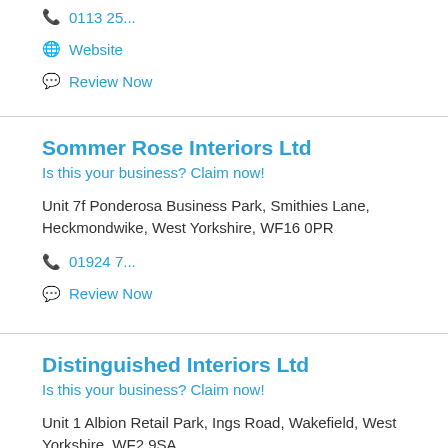0113 25...
Website
Review Now
Sommer Rose Interiors Ltd
Is this your business? Claim now!
Unit 7f Ponderosa Business Park, Smithies Lane, Heckmondwike, West Yorkshire, WF16 0PR
01924 7...
Review Now
Distinguished Interiors Ltd
Is this your business? Claim now!
Unit 1 Albion Retail Park, Ings Road, Wakefield, West Yorkshire, WF2 9SA